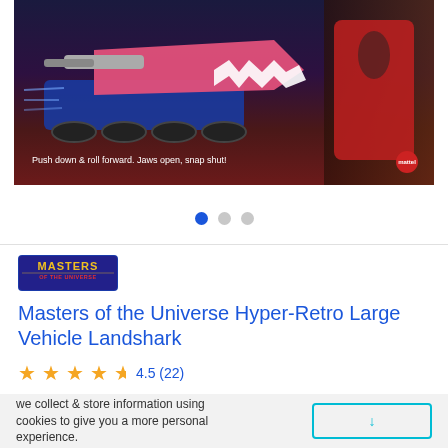[Figure (photo): Product image of Masters of the Universe Hyper-Retro Large Vehicle Landshark toy in packaging, showing a pink shark-like vehicle with mechanical features on a dark background. Text reads: Push down & roll forward. Jaws open, snap shut! Mattel logo badge visible.]
Masters of the Universe Hyper-Retro Large Vehicle Landshark
4.5 (22)
ages: 6+ years
we collect & store information using cookies to give you a more personal experience.